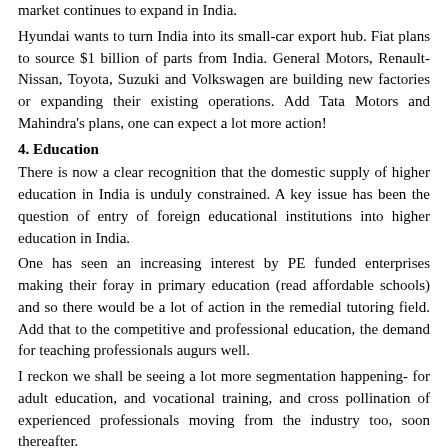market continues to expand in India.
Hyundai wants to turn India into its small-car export hub. Fiat plans to source $1 billion of parts from India. General Motors, Renault-Nissan, Toyota, Suzuki and Volkswagen are building new factories or expanding their existing operations. Add Tata Motors and Mahindra's plans, one can expect a lot more action!
4. Education
There is now a clear recognition that the domestic supply of higher education in India is unduly constrained. A key issue has been the question of entry of foreign educational institutions into higher education in India.
One has seen an increasing interest by PE funded enterprises making their foray in primary education (read affordable schools) and so there would be a lot of action in the remedial tutoring field. Add that to the competitive and professional education, the demand for teaching professionals augurs well.
I reckon we shall be seeing a lot more segmentation happening- for adult education, and vocational training, and cross pollination of experienced professionals moving from the industry too, soon thereafter.
5.The Green sector
Though these are early days yet, for sheer potential, renewable